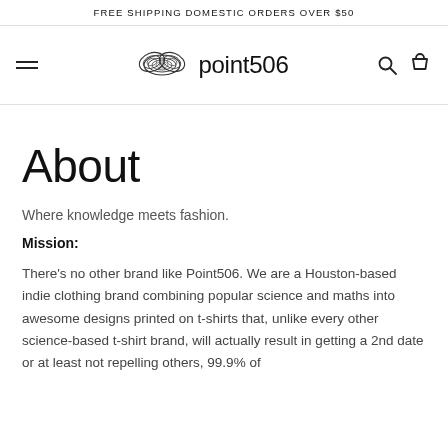FREE SHIPPING DOMESTIC ORDERS OVER $50
[Figure (logo): Point506 logo with butterfly-like swirl graphic and text 'point506']
About
Where knowledge meets fashion.
Mission:
There’s no other brand like Point506. We are a Houston-based indie clothing brand combining popular science and maths into awesome designs printed on t-shirts that, unlike every other science-based t-shirt brand, will actually result in getting a 2nd date or at least not repelling others, 99.9% of